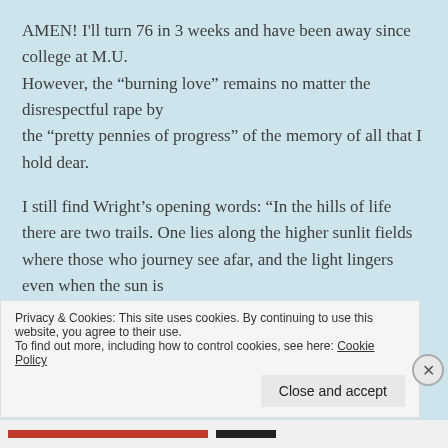AMEN! I'll turn 76 in 3 weeks and have been away since college at M.U. However, the “burning love” remains no matter the disrespectful rape by the “pretty pennies of progress” of the memory of all that I hold dear.
I still find Wright’s opening words: “In the hills of life there are two trails. One lies along the higher sunlit fields where those who journey see afar, and the light lingers even when the sun is
Privacy & Cookies: This site uses cookies. By continuing to use this website, you agree to their use.
To find out more, including how to control cookies, see here: Cookie Policy